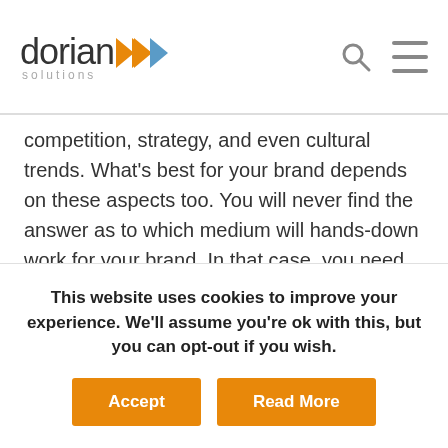dorian solutions
competition, strategy, and even cultural trends. What’s best for your brand depends on these aspects too. You will never find the answer as to which medium will hands-down work for your brand. In that case, you need to do research on what’s been working in your industry and mesh it with what’s been working for you already. Again, the process to maximize your paid ads in 2019 requires some trial and error. Ads on TV, Spotify, Pandora, social media platforms or partners, the radio, etc. can be the most effective way to deliver your message to your target
This website uses cookies to improve your experience. We’ll assume you’re ok with this, but you can opt-out if you wish.
Accept   Read More